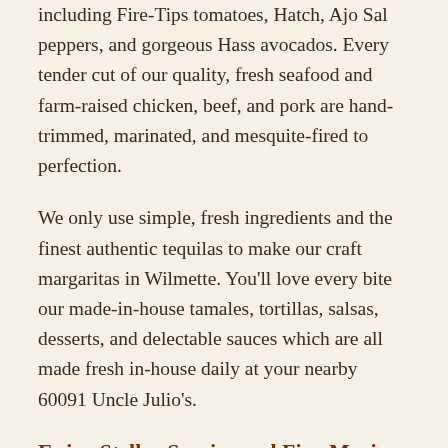including Fire-Tips tomatoes, Hatch, Ajo Sal peppers, and gorgeous Hass avocados. Every tender cut of our quality, fresh seafood and farm-raised chicken, beef, and pork are hand-trimmed, marinated, and mesquite-fired to perfection.
We only use simple, fresh ingredients and the finest authentic tequilas to make our craft margaritas in Wilmette. You'll love every bite our made-in-house tamales, tortillas, salsas, desserts, and delectable sauces which are all made fresh in-house daily at your nearby 60091 Uncle Julio's.
Enjoy Stellar Service and Fine Mexican Food Near 60091
Our passion for detail exceeds our menu offerings. Even though we're best known for made-from-scratch Mexican cuisine, Wilmette families, friends, and colleagues visit Uncle Julio's to take part in not just good Mexican food near 60091, but also top-notch